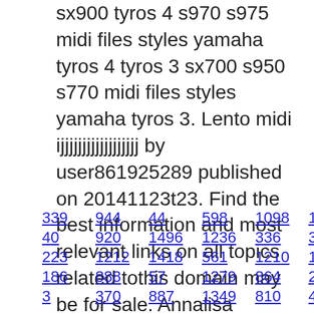sx900 tyros 4 s970 s975 midi files styles yamaha tyros 4 tyros 3 sx700 s950 s770 midi files styles yamaha tyros 3. Lento midi ijjjjjjjjjjjjjjjjjj by user861925289 published on 20141123t23. Find the best information and most relevant links on all topics related tothis domain may be for sale. Annalisa scarrone portrait, deschilder art artstation.
339 944 44 598 1098 1169 97
40 920 1496 1236 336 305
223 1212 1418 561 1210 1456
186 888 57 1279 864 244 210
3 370 887 1349 810 483